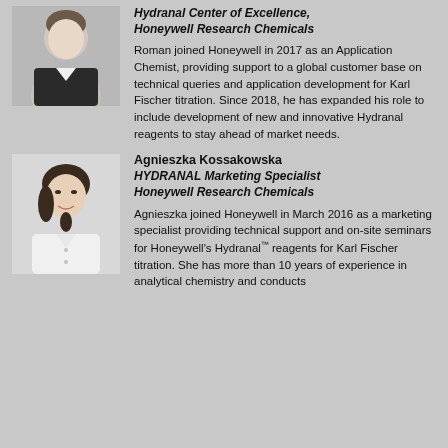[Figure (photo): Headshot of Roman, a young man in a dark jacket, against a light background]
Hydranal Center of Excellence, Honeywell Research Chemicals
Roman joined Honeywell in 2017 as an Application Chemist, providing support to a global customer base on technical queries and application development for Karl Fischer titration. Since 2018, he has expanded his role to include development of new and innovative Hydranal reagents to stay ahead of market needs.
[Figure (photo): Headshot of Agnieszka Kossakowska, a woman with dark hair in a white top, smiling]
Agnieszka Kossakowska
HYDRANAL Marketing Specialist Honeywell Research Chemicals
Agnieszka joined Honeywell in March 2016 as a marketing specialist providing technical support and on-site seminars for Honeywell's Hydranal™ reagents for Karl Fischer titration. She has more than 10 years of experience in analytical chemistry and conducts